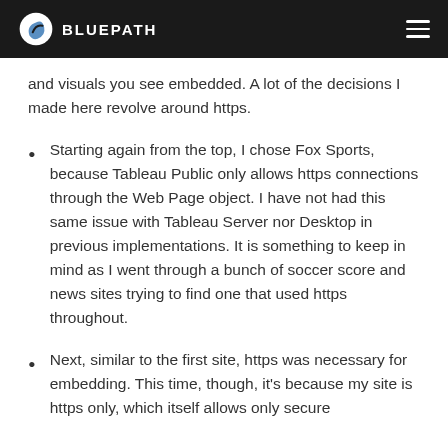BLUEPATH
and visuals you see embedded. A lot of the decisions I made here revolve around https.
Starting again from the top, I chose Fox Sports, because Tableau Public only allows https connections through the Web Page object. I have not had this same issue with Tableau Server nor Desktop in previous implementations. It is something to keep in mind as I went through a bunch of soccer score and news sites trying to find one that used https throughout.
Next, similar to the first site, https was necessary for embedding. This time, though, it's because my site is https only, which itself allows only secure